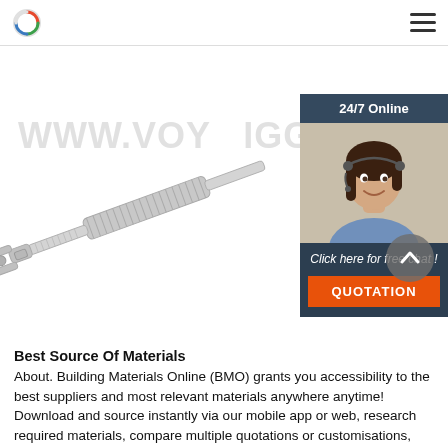Navigation bar with logo and menu icon
[Figure (photo): A galvanized steel turnbuckle with jaw/clevis end, photographed on white background, diagonal orientation. Watermark text 'WWW.VOY...IGGING' visible in light gray. Adjacent 24/7 online chat widget with operator photo, 'Click here for free chat!' text, and orange QUOTATION button.]
Best Source Of Materials
About. Building Materials Online (BMO) grants you accessibility to the best suppliers and most relevant materials anywhere anytime! Download and source instantly via our mobile app or web, research required materials, compare multiple quotations or customisations, and deal directly with any suppliers.